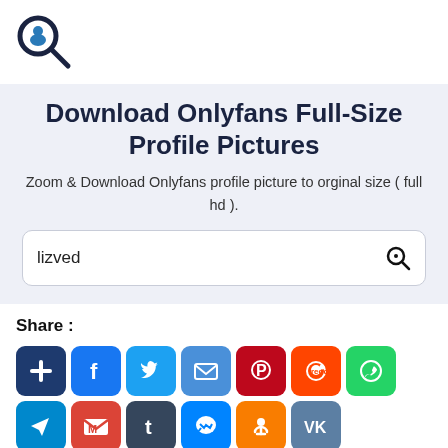[Figure (logo): Search/profile icon: magnifying glass with a person silhouette inside]
Download Onlyfans Full-Size Profile Pictures
Zoom & Download Onlyfans profile picture to orginal size ( full hd ).
lizved
Share :
[Figure (infographic): Row of social sharing icon buttons: AddThis (plus), Facebook, Twitter, Email, Pinterest, Reddit, WhatsApp, Telegram, Gmail, Tumblr, Messenger, Odnoklassniki, VKontakte]